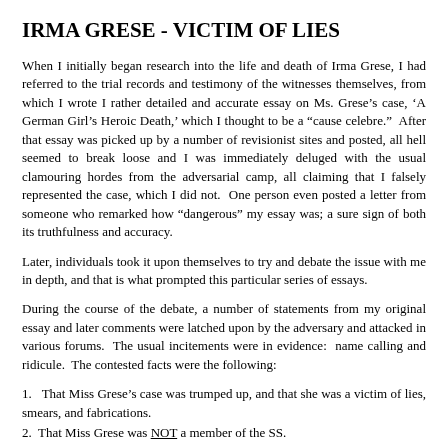IRMA GRESE - VICTIM OF LIES
When I initially began research into the life and death of Irma Grese, I had referred to the trial records and testimony of the witnesses themselves, from which I wrote I rather detailed and accurate essay on Ms. Grese’s case, ‘A German Girl’s Heroic Death,’ which I thought to be a “cause celebre.”  After that essay was picked up by a number of revisionist sites and posted, all hell seemed to break loose and I was immediately deluged with the usual clamouring hordes from the adversarial camp, all claiming that I falsely represented the case, which I did not.  One person even posted a letter from someone who remarked how “dangerous” my essay was; a sure sign of both its truthfulness and accuracy.
Later, individuals took it upon themselves to try and debate the issue with me in depth, and that is what prompted this particular series of essays.
During the course of the debate, a number of statements from my original essay and later comments were latched upon by the adversary and attacked in various forums.  The usual incitements were in evidence:  name calling and ridicule.  The contested facts were the following:
1.   That Miss Grese’s case was trumped up, and that she was a victim of lies, smears, and fabrications.
2.  That Miss Grese was NOT a member of the SS.
3.   That the charges against her did not warrant the imposition of the death sentence.
Now, to deal with the purpose of this essay, which is a review of the book, “The